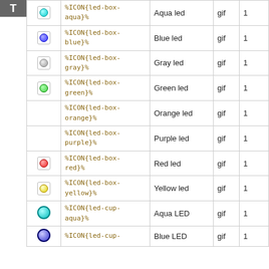|  |  | Code | Name | Ext | Num |
| --- | --- | --- | --- | --- | --- |
| [icon] |  | %ICON{led-box-aqua}% | Aqua led | gif | 1 |
| [icon] |  | %ICON{led-box-blue}% | Blue led | gif | 1 |
| [icon] |  | %ICON{led-box-gray}% | Gray led | gif | 1 |
| [icon] |  | %ICON{led-box-green}% | Green led | gif | 1 |
|  |  | %ICON{led-box-orange}% | Orange led | gif | 1 |
|  |  | %ICON{led-box-purple}% | Purple led | gif | 1 |
| [icon] |  | %ICON{led-box-red}% | Red led | gif | 1 |
| [icon] |  | %ICON{led-box-yellow}% | Yellow led | gif | 1 |
| [icon] |  | %ICON{led-cup-aqua}% | Aqua LED | gif | 1 |
| [icon] |  | %ICON{led-cup-blue}% | Blue LED | gif | 1 |